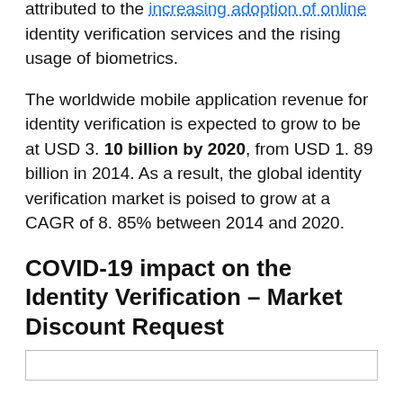...verification market is largely attributed to the increasing adoption of online identity verification services and the rising usage of biometrics.
The worldwide mobile application revenue for identity verification is expected to grow to be at USD 3. 10 billion by 2020, from USD 1. 89 billion in 2014. As a result, the global identity verification market is poised to grow at a CAGR of 8. 85% between 2014 and 2020.
COVID-19 impact on the Identity Verification – Market Discount Request